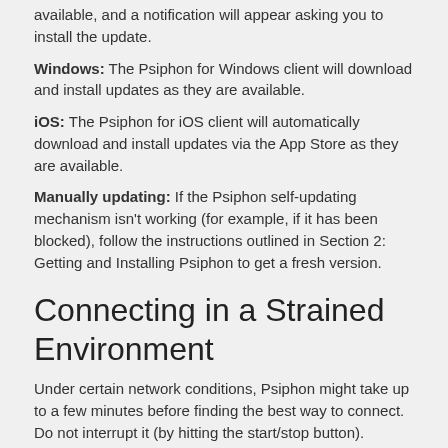available, and a notification will appear asking you to install the update.
Windows: The Psiphon for Windows client will download and install updates as they are available.
iOS: The Psiphon for iOS client will automatically download and install updates via the App Store as they are available.
Manually updating: If the Psiphon self-updating mechanism isn't working (for example, if it has been blocked), follow the instructions outlined in Section 2: Getting and Installing Psiphon to get a fresh version.
Connecting in a Strained Environment
Under certain network conditions, Psiphon might take up to a few minutes before finding the best way to connect. Do not interrupt it (by hitting the start/stop button). Psiphon uses a variety of protocols and they differ regionally. Not only does the Psiphon app have a variety of connection techniques, it will learn from previous attempts and the successful connection method will be used the next time the app is run.
Frequent Disconnections